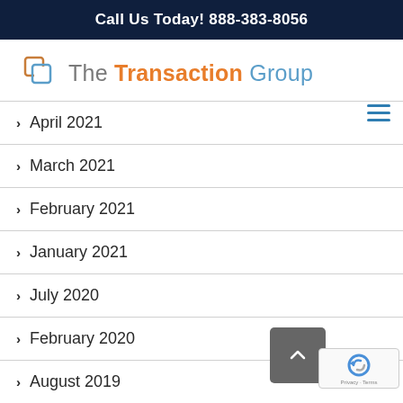Call Us Today! 888-383-8056
[Figure (logo): The Transaction Group logo with orange 'Transaction' and blue 'Group' text]
April 2021
March 2021
February 2021
January 2021
July 2020
February 2020
August 2019